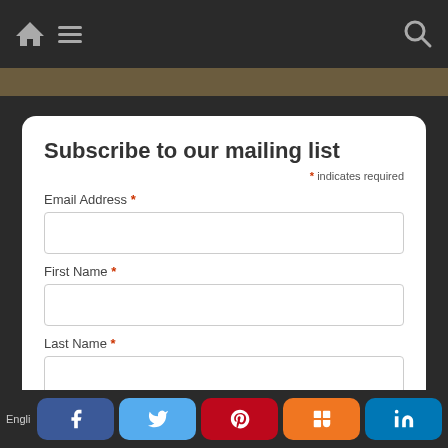[Figure (screenshot): Navigation bar with home icon, hamburger menu icon on the left, and search icon on the right, on a dark background]
Subscribe to our mailing list
* indicates required
Email Address *
First Name *
Last Name *
English
[Figure (infographic): Social sharing buttons row: Facebook (dark blue rounded), Twitter (light blue rounded), Pinterest (red rounded), Mix/Stumbleupon (orange rounded), LinkedIn (teal rounded)]